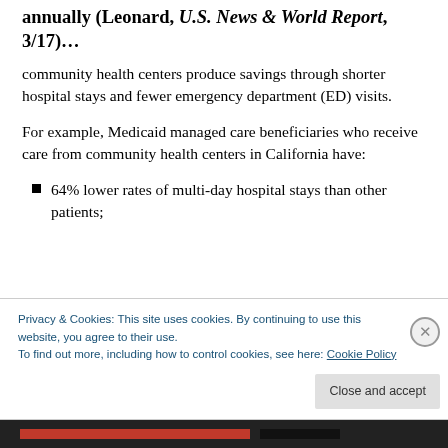annually (Leonard, U.S. News & World Report, 3/17)...
community health centers produce savings through shorter hospital stays and fewer emergency department (ED) visits.
For example, Medicaid managed care beneficiaries who receive care from community health centers in California have:
64% lower rates of multi-day hospital stays than other patients;